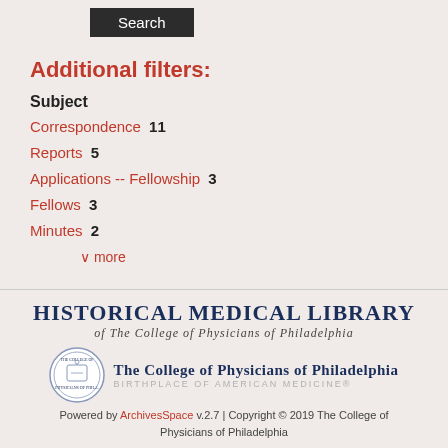Search
Additional filters:
Subject
Correspondence  11
Reports  5
Applications -- Fellowship  3
Fellows  3
Minutes  2
∨ more
[Figure (logo): Historical Medical Library of The College of Physicians of Philadelphia logo with seal]
Powered by ArchivesSpace v.2.7 | Copyright © 2019 The College of Physicians of Philadelphia